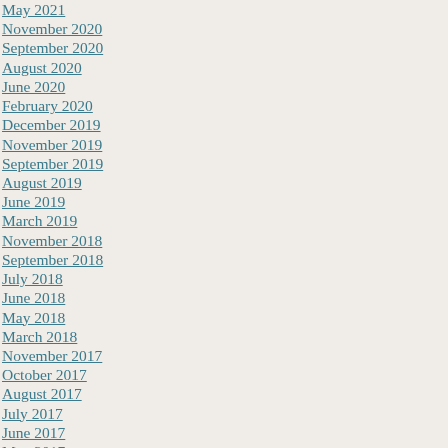May 2021
November 2020
September 2020
August 2020
June 2020
February 2020
December 2019
November 2019
September 2019
August 2019
June 2019
March 2019
November 2018
September 2018
July 2018
June 2018
May 2018
March 2018
November 2017
October 2017
August 2017
July 2017
June 2017
May 2017
April 2017
March 2017
January 2017
November 2016
October 2016